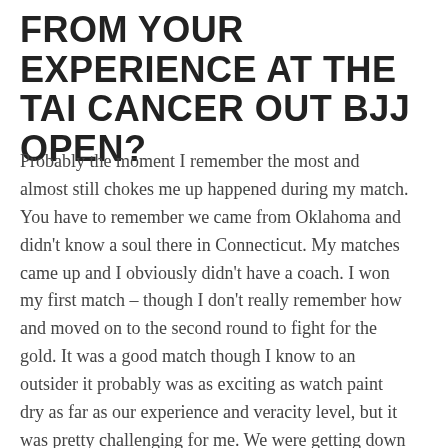FROM YOUR EXPERIENCE AT THE TAI CANCER OUT BJJ OPEN?
Probably the moment I remember the most and almost still chokes me up happened during my match. You have to remember we came from Oklahoma and didn't know a soul there in Connecticut. My matches came up and I obviously didn't have a coach. I won my first match – though I don't really remember how and moved on to the second round to fight for the gold. It was a good match though I know to an outsider it probably was as exciting as watch paint dry as far as our experience and veracity level, but it was pretty challenging for me. We were getting down to the end and truly had no idea how I was doing or what was doing. Suddenly I had a voice that came thru the noise hollering my name – somebody had sat